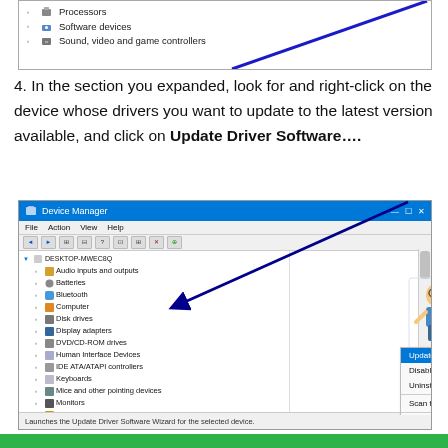[Figure (screenshot): Top portion of Device Manager window showing Processors, Software devices, and Sound video and game controllers items with a blue diagonal line overlay]
4. In the section you expanded, look for and right-click on the device whose drivers you want to update to the latest version available, and click on Update Driver Software….
[Figure (screenshot): Device Manager window showing expanded Network adapters section with Intel(R) 82574L Gigabit Network Connection selected and a context menu open showing Update Driver Software... highlighted, Disable, Uninstall, Scan for hardware changes, Properties options. Appuals.com logo visible in top right. Blue diagonal arrow pointing to Update Driver Software option.]